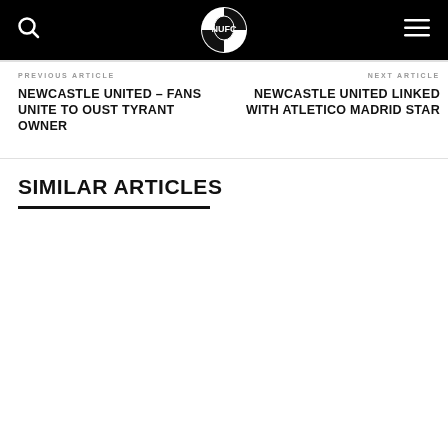Newcastle United fan site header with logo, search and menu icons
PREVIOUS ARTICLE
NEWCASTLE UNITED – FANS UNITE TO OUST TYRANT OWNER
NEXT ARTICLE
NEWCASTLE UNITED LINKED WITH ATLETICO MADRID STAR
SIMILAR ARTICLES